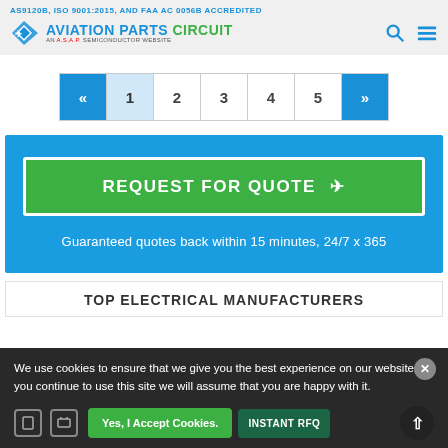AS9120B, ISO 9001:2015, AND FAA AC 0056B ACCREDITED
[Figure (logo): Aviation Parts Circuit logo - AN A.S.A.P. SEMICONDUCTOR WEBSITE with search and menu icons]
[Figure (other): Pagination bar with Previous, 1 (active), 2, 3, 4, 5, Next buttons]
REQUEST FOR QUOTE
Guaranteed quotes back within 15 minutes, 24/7 x 365
TOP ELECTRICAL MANUFACTURERS
We use cookies to ensure that we give you the best experience on our website. If you continue to use this site we will assume that you are happy with it.
Yes, I Accept Cookies.
INSTANT RFQ